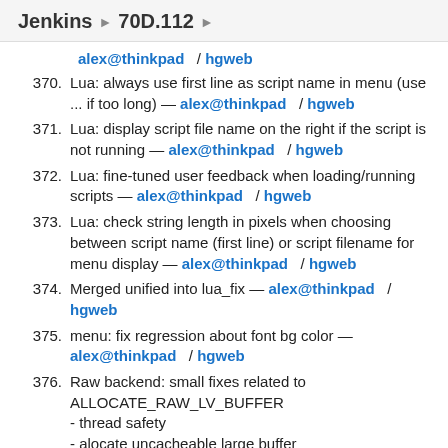Jenkins ▶ 70D.112 ▶
alex@thinkpad / hgweb
370. Lua: always use first line as script name in menu (use ... if too long) — alex@thinkpad / hgweb
371. Lua: display script file name on the right if the script is not running — alex@thinkpad / hgweb
372. Lua: fine-tuned user feedback when loading/running scripts — alex@thinkpad / hgweb
373. Lua: check string length in pixels when choosing between script name (first line) or script filename for menu display — alex@thinkpad / hgweb
374. Merged unified into lua_fix — alex@thinkpad / hgweb
375. menu: fix regression about font bg color — alex@thinkpad / hgweb
376. Raw backend: small fixes related to ALLOCATE_RAW_LV_BUFFER - thread safety - alocate uncacheable large buffer - compiler error on missing DEFAULT_RAW_BUFFER or RAW_LV_BUFFER_ALLOC_SIZE — alex@thinkpad / hgweb